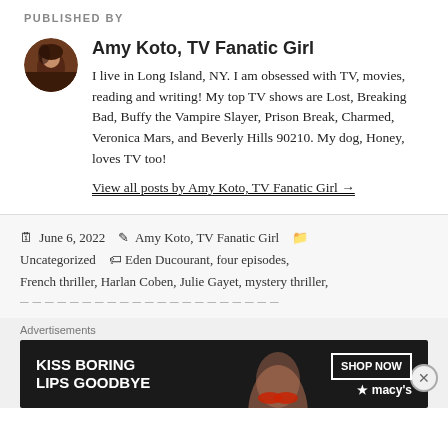PUBLISHED BY
[Figure (photo): Circular avatar photo of Amy Koto]
Amy Koto, TV Fanatic Girl
I live in Long Island, NY. I am obsessed with TV, movies, reading and writing! My top TV shows are Lost, Breaking Bad, Buffy the Vampire Slayer, Prison Break, Charmed, Veronica Mars, and Beverly Hills 90210. My dog, Honey, loves TV too!
View all posts by Amy Koto, TV Fanatic Girl →
June 6, 2022   Amy Koto, TV Fanatic Girl   Uncategorized   Eden Ducourant, four episodes, French thriller, Harlan Coben, Julie Gayet, mystery thriller,
Advertisements
[Figure (other): Macy's advertisement banner: KISS BORING LIPS GOODBYE with SHOP NOW button and Macy's logo]